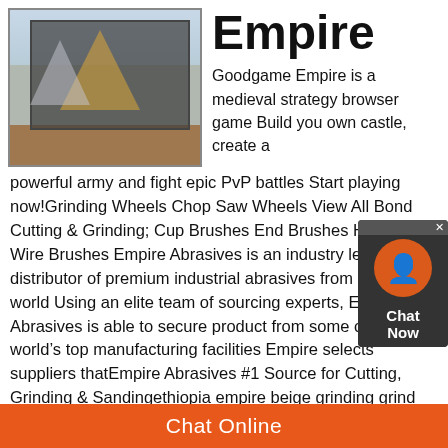[Figure (photo): Outdoor metal frame structure / industrial shed with triangular shapes overlaid, set against a cloudy sky with red dirt ground]
Empire
Goodgame Empire is a medieval strategy browser game Build you own castle, create a powerful army and fight epic PvP battles Start playing now!Grinding Wheels Chop Saw Wheels View All Bond Cutting & Grinding; Cup Brushes End Brushes Hand H Wire Brushes Empire Abrasives is an industry leading distributor of premium industrial abrasives from around the world Using an elite team of sourcing experts, Empire Abrasives is able to secure product from some of the world’s top manufacturing facilities Empire selects suppliers thatEmpire Abrasives #1 Source for Cutting, Grinding & Sandingethiopia empire beige grinding grind Home Grind Mill graphite crushering machine pgrind italy
Chat Online